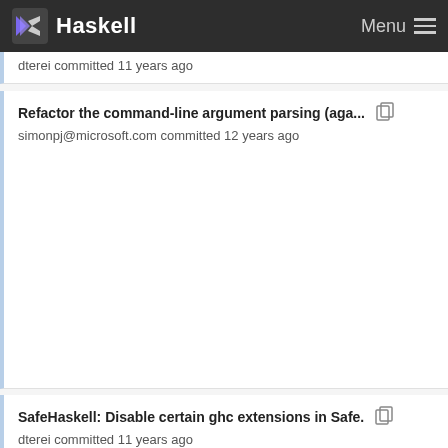Haskell  Menu
dterei committed 11 years ago
Refactor the command-line argument parsing (aga...  simonpj@microsoft.com committed 12 years ago
SafeHaskell: Disable certain ghc extensions in Safe.  dterei committed 11 years ago
Refactor the command-line argument parsing (aga...  simonpj@microsoft.com committed 12 years ago